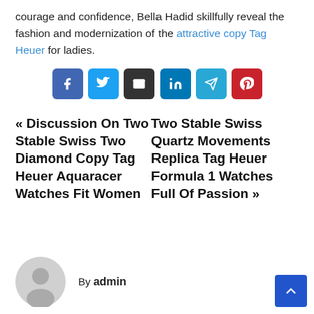courage and confidence, Bella Hadid skillfully reveal the fashion and modernization of the attractive copy Tag Heuer for ladies.
[Figure (infographic): Six social share buttons: Facebook (blue), Twitter (light blue), Email (dark), LinkedIn (blue), Telegram (teal), Pinterest (red)]
« Discussion On Two Stable Swiss Two Diamond Copy Tag Heuer Aquaracer Watches Fit Women | Two Stable Swiss Quartz Movements Replica Tag Heuer Formula 1 Watches Full Of Passion »
By admin